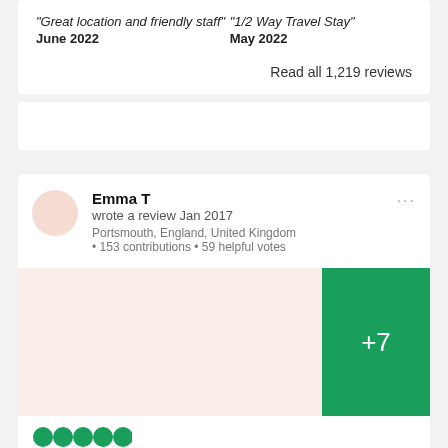“Great location and friendly staff”
June 2022
“1/2 Way Travel Stay”
May 2022
Read all 1,219 reviews
Emma T
wrote a review Jan 2017
Portsmouth, England, United Kingdom
• 153 contributions • 59 helpful votes
[Figure (other): Green box with '+7' indicating additional photos]
[Figure (other): Partial star rating circles at bottom of page]